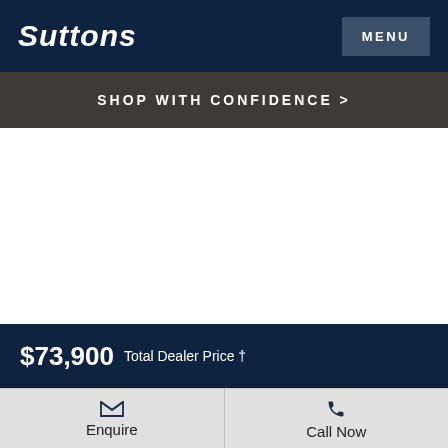Suttons
MENU
SHOP WITH CONFIDENCE >
[Figure (photo): White blank area representing a car image placeholder]
$73,900 Total Dealer Price †
Enquire
Call Now